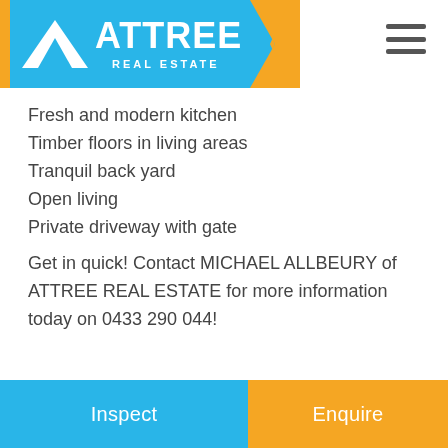[Figure (logo): Attree Real Estate logo with blue triangle, orange background strip, and white text ATTREE REAL ESTATE]
Fresh and modern kitchen
Timber floors in living areas
Tranquil back yard
Open living
Private driveway with gate
Get in quick! Contact MICHAEL ALLBEURY of ATTREE REAL ESTATE for more information today on 0433 290 044!